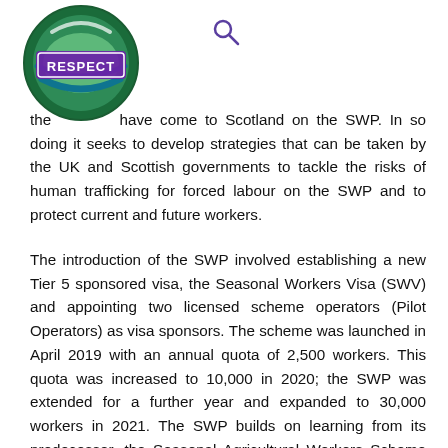RESPECT logo and search icon
the [workers] have come to Scotland on the SWP. In so doing it seeks to develop strategies that can be taken by the UK and Scottish governments to tackle the risks of human trafficking for forced labour on the SWP and to protect current and future workers.
The introduction of the SWP involved establishing a new Tier 5 sponsored visa, the Seasonal Workers Visa (SWV) and appointing two licensed scheme operators (Pilot Operators) as visa sponsors. The scheme was launched in April 2019 with an annual quota of 2,500 workers. This quota was increased to 10,000 in 2020; the SWP was extended for a further year and expanded to 30,000 workers in 2021. The SWP builds on learning from its predecessor, the Seasonal Agricultural Workers Scheme (SAWS), yet has a reduced number of scheme operators, and unlike SAWS, Pilot Operators are not permitted to source labour for their own needs. Despite its 71-year period of operation there is no independent